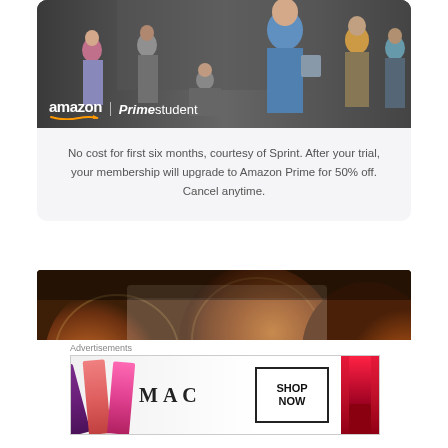[Figure (photo): Amazon Prime Student advertisement showing students walking on a street, with the Amazon Prime Student logo overlaid at the bottom left]
No cost for first six months, courtesy of Sprint. After your trial, your membership will upgrade to Amazon Prime for 50% off. Cancel anytime.
[Figure (photo): Close-up photo of copper/bronze coins with warm reddish-brown tones]
Advertisements
[Figure (photo): MAC Cosmetics advertisement banner showing colorful lipsticks on the left, the MAC wordmark in the center, a SHOP NOW box, and a red lipstick on the right]